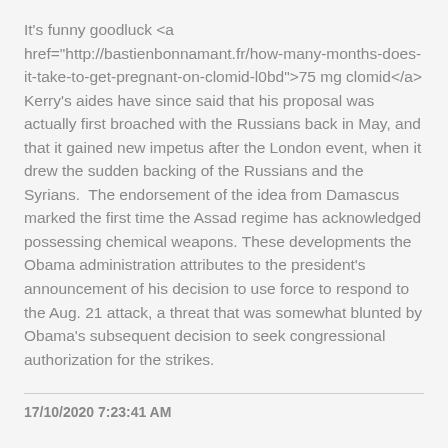It's funny goodluck <a href="http://bastienbonnamant.fr/how-many-months-does-it-take-to-get-pregnant-on-clomid-l0bd">75 mg clomid</a> Kerry's aides have since said that his proposal was actually first broached with the Russians back in May, and that it gained new impetus after the London event, when it drew the sudden backing of the Russians and the Syrians.  The endorsement of the idea from Damascus marked the first time the Assad regime has acknowledged possessing chemical weapons. These developments the Obama administration attributes to the president's announcement of his decision to use force to respond to the Aug. 21 attack, a threat that was somewhat blunted by Obama's subsequent decision to seek congressional authorization for the strikes.
17/10/2020 7:23:41 AM